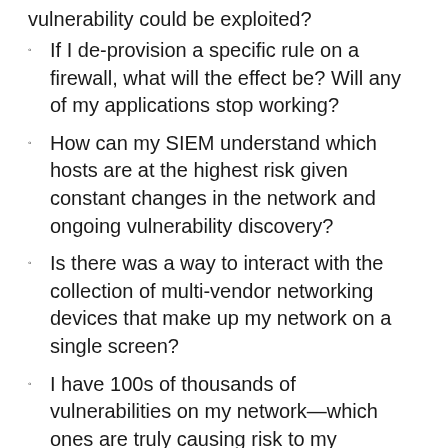vulnerability could be exploited?
If I de-provision a specific rule on a firewall, what will the effect be? Will any of my applications stop working?
How can my SIEM understand which hosts are at the highest risk given constant changes in the network and ongoing vulnerability discovery?
Is there was a way to interact with the collection of multi-vendor networking devices that make up my network on a single screen?
I have 100s of thousands of vulnerabilities on my network—which ones are truly causing risk to my organization?
Skybox network modeling is designed with these types of contextually-aware questions in mind. Network modeling, unlike network mapping,